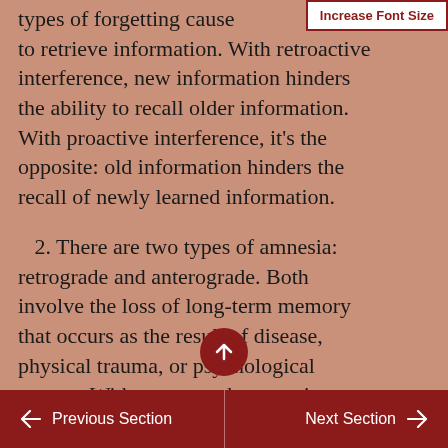types of forgetting caused to retrieve information. With retroactive interference, new information hinders the ability to recall older information. With proactive interference, it's the opposite: old information hinders the recall of newly learned information.
2. There are two types of amnesia: retrograde and anterograde. Both involve the loss of long-term memory that occurs as the result of disease, physical trauma, or psychological trauma. With anterograde amnesia, you cannot remember new information; however, you can remember information
← Previous Section    Next Section →